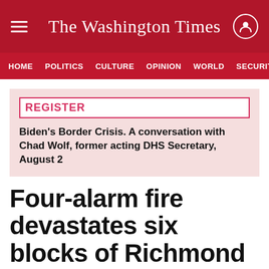The Washington Times
HOME  POLITICS  CULTURE  OPINION  WORLD  SECURITY
REGISTER
Biden's Border Crisis. A conversation with Chad Wolf, former acting DHS Secretary, August 2
Four-alarm fire devastates six blocks of Richmond
Friday, March 26, 2004